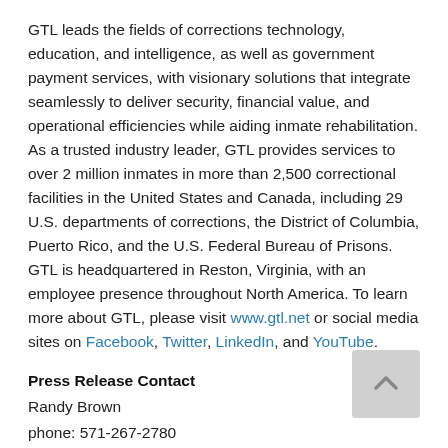GTL leads the fields of corrections technology, education, and intelligence, as well as government payment services, with visionary solutions that integrate seamlessly to deliver security, financial value, and operational efficiencies while aiding inmate rehabilitation. As a trusted industry leader, GTL provides services to over 2 million inmates in more than 2,500 correctional facilities in the United States and Canada, including 29 U.S. departments of corrections, the District of Columbia, Puerto Rico, and the U.S. Federal Bureau of Prisons. GTL is headquartered in Reston, Virginia, with an employee presence throughout North America. To learn more about GTL, please visit www.gtl.net or social media sites on Facebook, Twitter, LinkedIn, and YouTube.
Press Release Contact
Randy Brown
phone: 571-267-2780
email: media@gtl.net